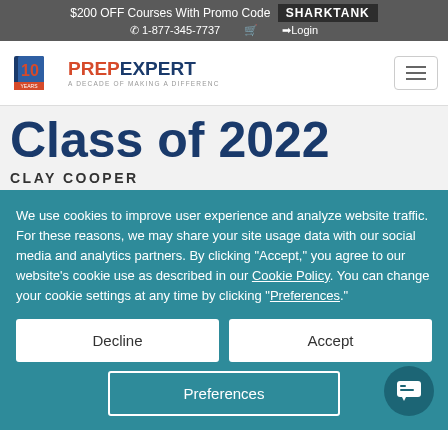$200 OFF Courses With Promo Code SHARKTANK | 1-877-345-7737 | Login
[Figure (logo): Prep Expert logo with '10 YEARS' badge and tagline 'A DECADE OF MAKING A DIFFERENCE']
Class of 2022
CLAY COOPER
We use cookies to improve user experience and analyze website traffic. For these reasons, we may share your site usage data with our social media and analytics partners. By clicking "Accept," you agree to our website's cookie use as described in our Cookie Policy. You can change your cookie settings at any time by clicking "Preferences."
Decline | Accept | Preferences